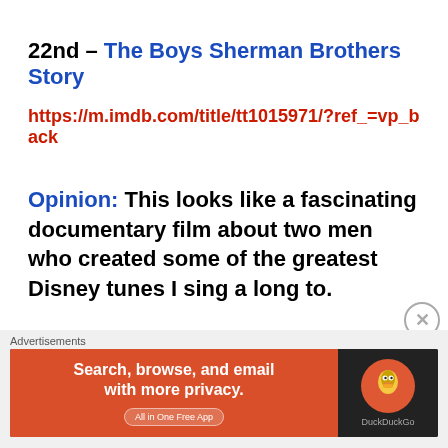22nd – The Boys Sherman Brothers Story
https://m.imdb.com/title/tt1015971/?ref_=vp_back
Opinion: This looks like a fascinating documentary film about two men who created some of the greatest Disney tunes I sing a long to.
Amazon Prime
Advertisements
[Figure (other): DuckDuckGo advertisement banner: Search, browse, and email with more privacy. All in One Free App]